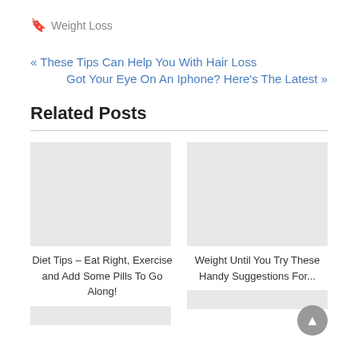Weight Loss
« These Tips Can Help You With Hair Loss
Got Your Eye On An Iphone? Here's The Latest »
Related Posts
[Figure (photo): Placeholder image for Diet Tips post]
Diet Tips – Eat Right, Exercise and Add Some Pills To Go Along!
[Figure (photo): Placeholder image for Weight Until You Try These Handy Suggestions post]
Weight Until You Try These Handy Suggestions For...
[Figure (photo): Placeholder image bottom left]
[Figure (photo): Placeholder image bottom right]